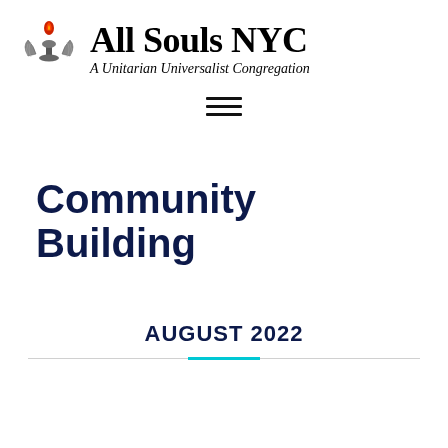[Figure (logo): All Souls NYC logo: flame icon above stylized wings/chalice, with organization name 'All Souls NYC' and subtitle 'A Unitarian Universalist Congregation']
[Figure (other): Hamburger menu icon — three horizontal black lines]
Community Building
AUGUST 2022
[Figure (other): Horizontal divider line: gray on left and right, cyan/teal in the center]